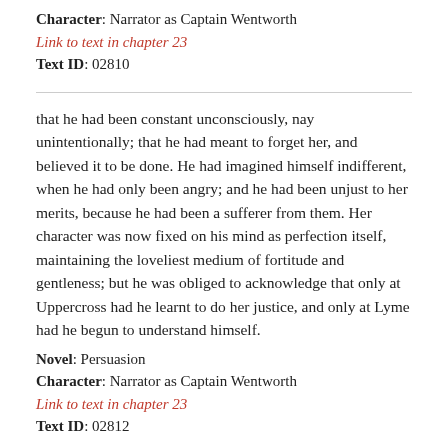Character: Narrator as Captain Wentworth
Link to text in chapter 23
Text ID: 02810
that he had been constant unconsciously, nay unintentionally; that he had meant to forget her, and believed it to be done. He had imagined himself indifferent, when he had only been angry; and he had been unjust to her merits, because he had been a sufferer from them. Her character was now fixed on his mind as perfection itself, maintaining the loveliest medium of fortitude and gentleness; but he was obliged to acknowledge that only at Uppercross had he learnt to do her justice, and only at Lyme had he begun to understand himself.
Novel: Persuasion
Character: Narrator as Captain Wentworth
Link to text in chapter 23
Text ID: 02812
he had for ever felt it to be impossible;
Novel: Persuasion
Character: Narrator as Captain Wentworth